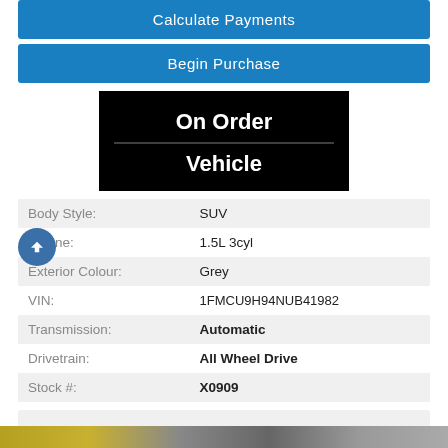Calculate Payments
Begin Purchase
[Figure (other): Black banner image with white bold text reading 'On Order' on top line and 'Vehicle' on bottom line, separated by a horizontal divider line]
| Body Style: | SUV |
| Engine: | 1.5L 3cyl |
| Exterior Colour: | Grey |
| VIN: | 1FMCU9H94NUB41982 |
| Transmission: | Automatic |
| Drivetrain: | All Wheel Drive |
| Stock #: | X0909 |
Live Video Chat   Text Us